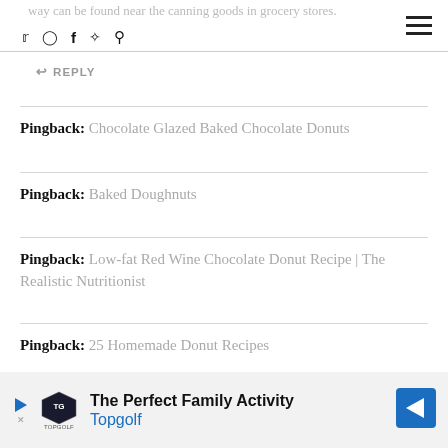way can be found near the canning goods in grocery stores.
↩ REPLY
Pingback: Chocolate Glazed Baked Chocolate Donuts
Pingback: Baked Doughnuts
Pingback: Low-fat Red Wine Chocolate Donut Recipe | The Realistic Nutritionist
Pingback: 25 Homemade Donut Recipes
[Figure (screenshot): Advertisement banner for Topgolf: The Perfect Family Activity]